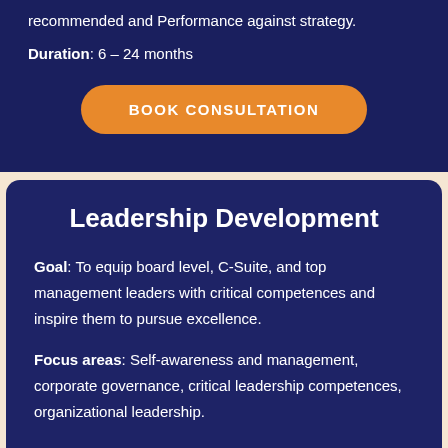recommended and Performance against strategy.
Duration: 6 – 24 months
BOOK CONSULTATION
Leadership Development
Goal: To equip board level, C-Suite, and top management leaders with critical competences and inspire them to pursue excellence.
Focus areas: Self-awareness and management, corporate governance, critical leadership competences, organizational leadership.